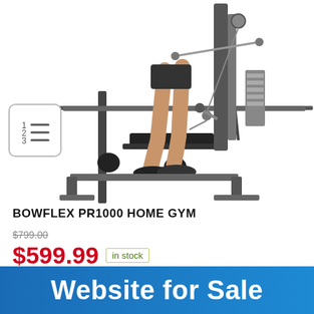[Figure (photo): Person using a Bowflex PR1000 home gym exercise machine, side view showing legs and the cable/pulley system]
BOWFLEX PR1000 HOME GYM
$799.00 (strikethrough original price)
$599.99 in stock
5 new from $599.00
2 used from $575.99
Free shipping
Website for Sale